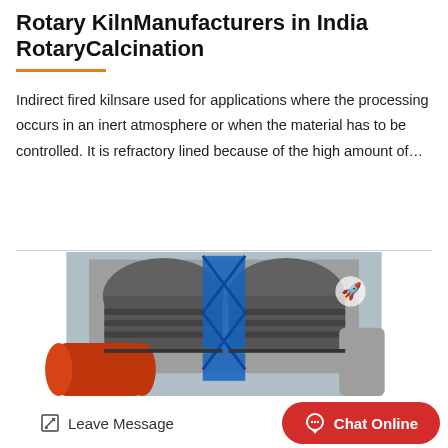Rotary KilnManufacturers in India RotaryCalcination
Indirect fired kilnsare used for applications where the processing occurs in an inert atmosphere or when the material has to be controlled. It is refractory lined because of the high amount of…
[Figure (photo): Industrial rotary kiln facility showing large dome-shaped structures on either side connected by a central blue steel lattice frame structure, with large cylindrical kiln bodies visible in the foreground, taken from a low angle looking up.]
Leave Message
Chat Online